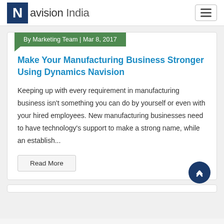Navision India
By Marketing Team | Mar 8, 2017
Make Your Manufacturing Business Stronger Using Dynamics Navision
Keeping up with every requirement in manufacturing business isn't something you can do by yourself or even with your hired employees. New manufacturing businesses need to have technology's support to make a strong name, while an establish...
Read More